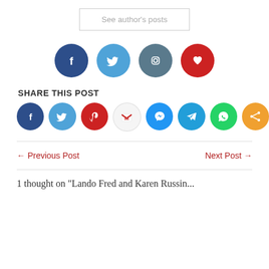See author's posts
[Figure (infographic): Four social media icon circles: Facebook (dark blue), Twitter (light blue), Instagram (slate), and a heart/bookmark icon (red)]
SHARE THIS POST
[Figure (infographic): Row of 8 social share icon circles: Facebook, Twitter, Pinterest, Gmail, Messenger, Telegram, WhatsApp, Share (orange)]
← Previous Post
Next Post →
1 thought on "Lando Fred and Karen Russin..."